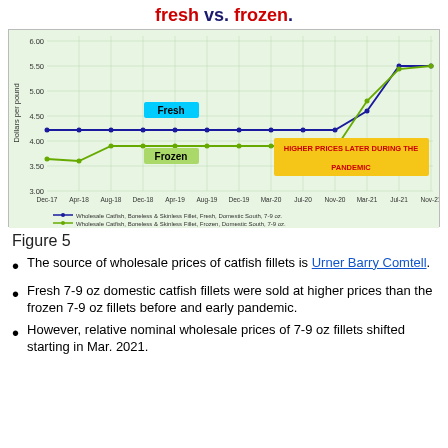fresh vs. frozen.
[Figure (line-chart): Wholesale Catfish Boneless & Skinless Fillet Fresh vs. Frozen]
Figure 5
The source of wholesale prices of catfish fillets is Urner Barry Comtell.
Fresh 7-9 oz domestic catfish fillets were sold at higher prices than the frozen 7-9 oz fillets before and early pandemic.
However, relative nominal wholesale prices of 7-9 oz fillets shifted starting in Mar. 2021.